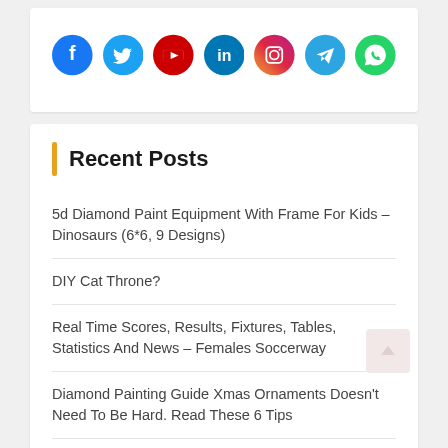[Figure (infographic): Social media icons row: Facebook (dark blue), Twitter (light blue), YouTube (red), LinkedIn (dark blue), Instagram (gradient purple-orange), Telegram (blue), WhatsApp (green)]
Recent Posts
5d Diamond Paint Equipment With Frame For Kids – Dinosaurs (6*6, 9 Designs)
DIY Cat Throne?
Real Time Scores, Results, Fixtures, Tables, Statistics And News – Females Soccerway
Diamond Painting Guide Xmas Ornaments Doesn't Need To Be Hard. Read These 6 Tips
Some Of The Here The New York Monopolist Sort Missing...